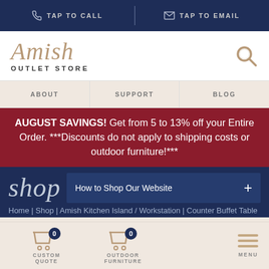TAP TO CALL | TAP TO EMAIL
[Figure (logo): Amish Outlet Store logo with script 'Amish' and bold 'OUTLET STORE' text, search icon on right]
ABOUT | SUPPORT | BLOG
AUGUST SAVINGS! Get from 5 to 13% off your Entire Order. ***Discounts do not apply to shipping costs or outdoor furniture!***
shop
How to Shop Our Website
Home | Shop | Amish Kitchen Island / Workstation | Counter Buffet Table
CUSTOM QUOTE  OUTDOOR FURNITURE  MENU